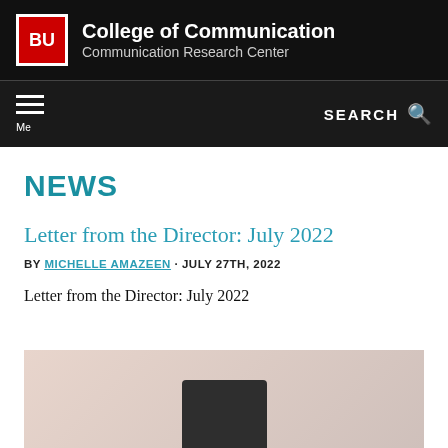BU College of Communication Communication Research Center
Menu SEARCH
NEWS
Letter from the Director: July 2022
BY MICHELLE AMAZEEN · JULY 27TH, 2022
Letter from the Director: July 2022
[Figure (photo): A photo partially visible at the bottom of the page showing a person or object against a light pinkish background]